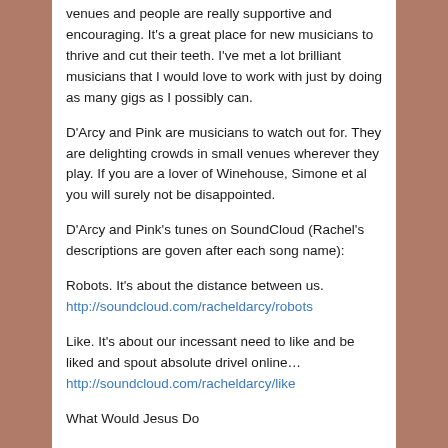venues and people are really supportive and encouraging. It's a great place for new musicians to thrive and cut their teeth. I've met a lot brilliant musicians that I would love to work with just by doing as many gigs as I possibly can.
D'Arcy and Pink are musicians to watch out for. They are delighting crowds in small venues wherever they play. If you are a lover of Winehouse, Simone et al you will surely not be disappointed.
D'Arcy and Pink's tunes on SoundCloud (Rachel's descriptions are goven after each song name):
Robots. It's about the distance between us.
http://soundcloud.com/racheldarcy/robots
Like. It's about our incessant need to like and be liked and spout absolute drivel online…
http://soundcloud.com/racheldarcy/like
What Would Jesus Do